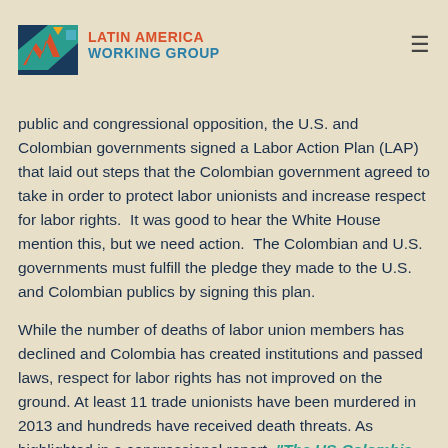LATIN AMERICA WORKING GROUP
public and congressional opposition, the U.S. and Colombian governments signed a Labor Action Plan (LAP) that laid out steps that the Colombian government agreed to take in order to protect labor unionists and increase respect for labor rights.  It was good to hear the White House mention this, but we need action.  The Colombian and U.S. governments must fulfill the pledge they made to the U.S. and Colombian publics by signing this plan.
While the number of deaths of labor union members has declined and Colombia has created institutions and passed laws, respect for labor rights has not improved on the ground. At least 11 trade unionists have been murdered in 2013 and hundreds have received death threats. As highlighted in a congressional report, “The US-Colombia